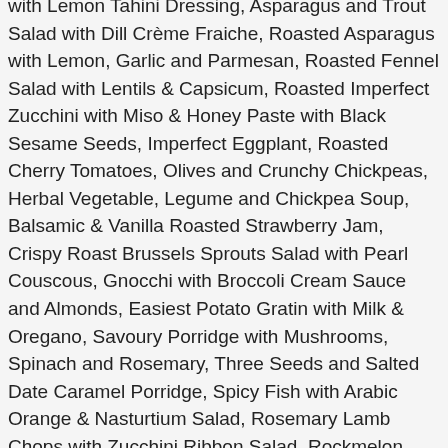with Lemon Tahini Dressing, Asparagus and Trout Salad with Dill Crème Fraiche, Roasted Asparagus with Lemon, Garlic and Parmesan, Roasted Fennel Salad with Lentils & Capsicum, Roasted Imperfect Zucchini with Miso & Honey Paste with Black Sesame Seeds, Imperfect Eggplant, Roasted Cherry Tomatoes, Olives and Crunchy Chickpeas, Herbal Vegetable, Legume and Chickpea Soup, Balsamic & Vanilla Roasted Strawberry Jam, Crispy Roast Brussels Sprouts Salad with Pearl Couscous, Gnocchi with Broccoli Cream Sauce and Almonds, Easiest Potato Gratin with Milk & Oregano, Savoury Porridge with Mushrooms, Spinach and Rosemary, Three Seeds and Salted Date Caramel Porridge, Spicy Fish with Arabic Orange & Nasturtium Salad, Rosemary Lamb Chops with Zucchini Ribbon Salad, Rockmelon salad with basil, fresh mozzarella & onion, Rocket, Pear, Goats Cheese & Radicchio Salad, Rocket, Feta, Red Onion & Pomegranate Seeds Salad, Rocket Salad with Imperial Mandarin Vinaigrette, Roasted Sweet Potato, Spinach and Mushroom Salad, Roasted Salmon and Cherry Tomatoes with Fennel and Cabbage Salad, Roasted Nicola Potatoes with